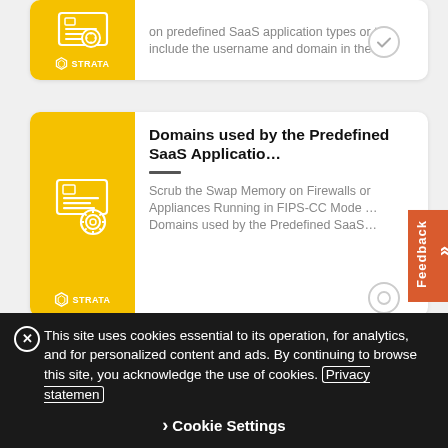[Figure (screenshot): Strata card with partial text: on predefined SaaS application types or to include the username and domain in the...]
[Figure (screenshot): Strata card: Domains used by the Predefined SaaS Applicatio... - Scrub the Swap Memory on Firewalls or Appliances Running in FIPS-CC Mode ... Domains used by the Predefined SaaS...]
[Figure (screenshot): Strata card: Insert Username in HTTP Headers - Insert Username in HTTP Headers ... Configure the firewall to include the domain and username in the traffic headers to alo...]
This site uses cookies essential to its operation, for analytics, and for personalized content and ads. By continuing to browse this site, you acknowledge the use of cookies. Privacy statemen Cookie Settings